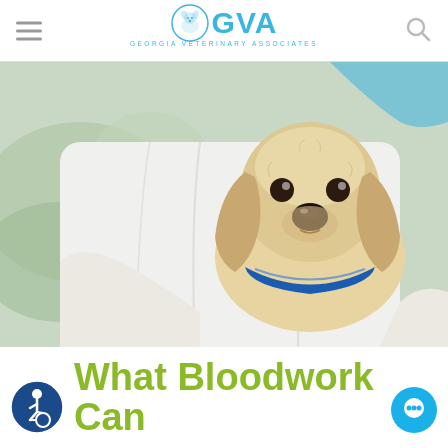GVA GEORGIA VETERINARY ASSOCIATES
[Figure (photo): A veterinarian in a white lab coat holding a golden/cream-colored cocker spaniel puppy with a blue collar. The background is light green/grey, blurred.]
What Bloodwork Can